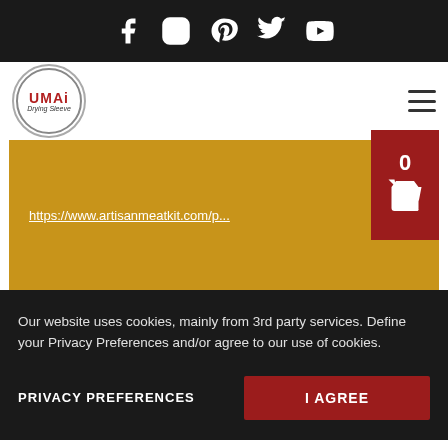Social icons: Facebook, Instagram, Pinterest, Twitter, YouTube
[Figure (logo): UMAi Dry logo in circular badge with red text and italic subtitle]
https://www.artisanmeatkit.com/p...
0 (cart widget)
Our website uses cookies, mainly from 3rd party services. Define your Privacy Preferences and/or agree to our use of cookies.
PRIVACY PREFERENCES
I AGREE